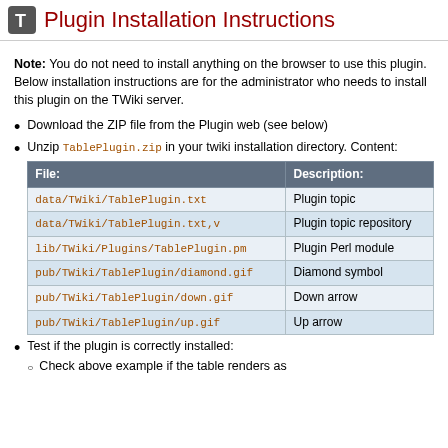Plugin Installation Instructions
Note: You do not need to install anything on the browser to use this plugin. Below installation instructions are for the administrator who needs to install this plugin on the TWiki server.
Download the ZIP file from the Plugin web (see below)
Unzip TablePlugin.zip in your twiki installation directory. Content:
| File: | Description: |
| --- | --- |
| data/TWiki/TablePlugin.txt | Plugin topic |
| data/TWiki/TablePlugin.txt,v | Plugin topic repository |
| lib/TWiki/Plugins/TablePlugin.pm | Plugin Perl module |
| pub/TWiki/TablePlugin/diamond.gif | Diamond symbol |
| pub/TWiki/TablePlugin/down.gif | Down arrow |
| pub/TWiki/TablePlugin/up.gif | Up arrow |
Test if the plugin is correctly installed:
Check above example if the table renders as